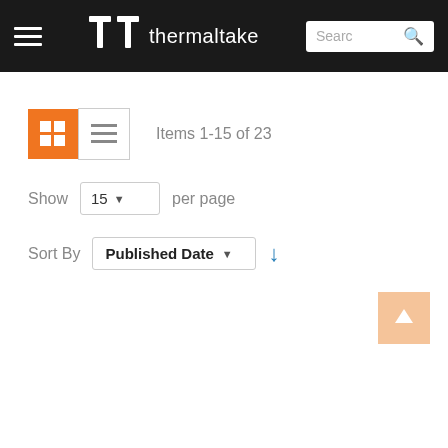thermaltake
Items 1-15 of 23
Show 15 per page
Sort By Published Date